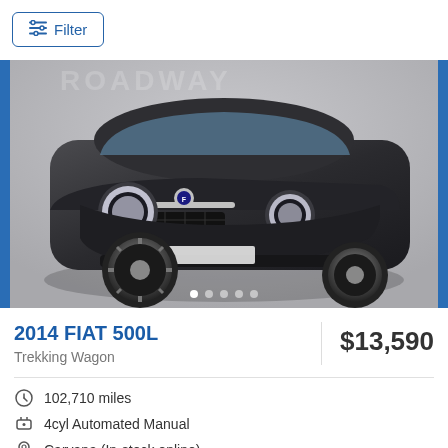Filter
[Figure (photo): Black 2014 Fiat 500L Trekking Wagon photographed from the front-left angle in a studio setting with gray background. Blue vertical bars on left and right edges. Navigation dots at bottom.]
2014 FIAT 500L
$13,590
Trekking Wagon
102,710 miles
4cyl Automated Manual
Carvana (In-stock online)
Free home delivery*